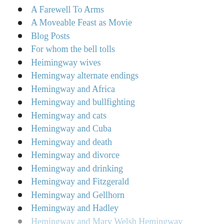A Farewell To Arms
A Moveable Feast as Movie
Blog Posts
For whom the bell tolls
Heimingway wives
Hemingway alternate endings
Hemingway and Africa
Hemingway and bullfighting
Hemingway and cats
Hemingway and Cuba
Hemingway and death
Hemingway and divorce
Hemingway and drinking
Hemingway and Fitzgerald
Hemingway and Gellhorn
Hemingway and Hadley
Hemingway and Mary Welsh Hemingway